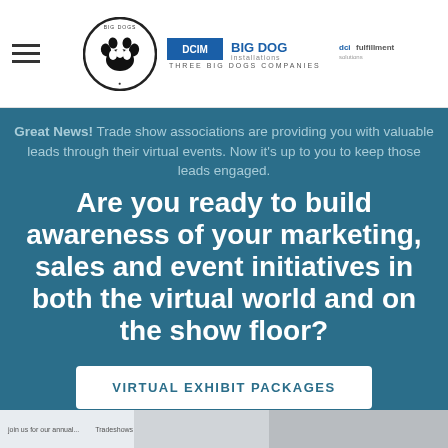[Figure (logo): Big Dogs companies header with hamburger menu, paw print logo circle, DCIM Management, BIG DOG installations, and dcifulfillment logos. Tagline: Three Big Dogs Companies]
Great News! Trade show associations are providing you with valuable leads through their virtual events. Now it’s up to you to keep those leads engaged.
Are you ready to build awareness of your marketing, sales and event initiatives in both the virtual world and on the show floor?
VIRTUAL EXHIBIT PACKAGES
[Figure (photo): Bottom strip showing partial images of marketing materials and trade show content]